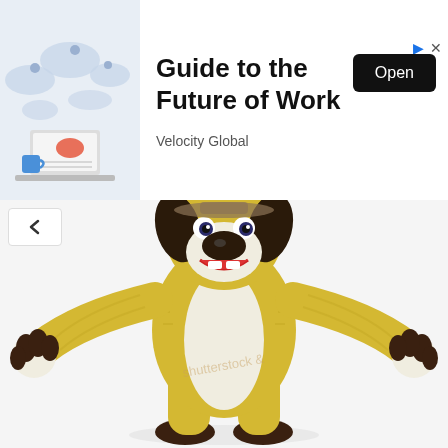[Figure (screenshot): Advertisement banner showing a person working on a laptop with a world map background. Text reads 'Guide to the Future of Work' with an 'Open' button and 'Velocity Global' brand name.]
[Figure (photo): Full-body photo of a yellow dog mascot costume (resembling Pluto/cartoon dog) with black ears and dark brown hands/feet, arms outstretched in T-pose against white background. Watermark text visible on costume.]